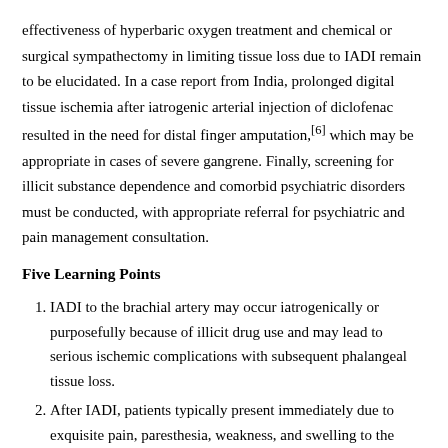effectiveness of hyperbaric oxygen treatment and chemical or surgical sympathectomy in limiting tissue loss due to IADI remain to be elucidated. In a case report from India, prolonged digital tissue ischemia after iatrogenic arterial injection of diclofenac resulted in the need for distal finger amputation,[6] which may be appropriate in cases of severe gangrene. Finally, screening for illicit substance dependence and comorbid psychiatric disorders must be conducted, with appropriate referral for psychiatric and pain management consultation.
Five Learning Points
IADI to the brachial artery may occur iatrogenically or purposefully because of illicit drug use and may lead to serious ischemic complications with subsequent phalangeal tissue loss.
After IADI, patients typically present immediately due to exquisite pain, paresthesia, weakness, and swelling to the extremity; however, delayed presentation may occur.
Ultimately, skin necrosis in the setting of IADI occurs due to direct toxicity of the injected substance to the vascular endothelium and a resultant embolic cascade.